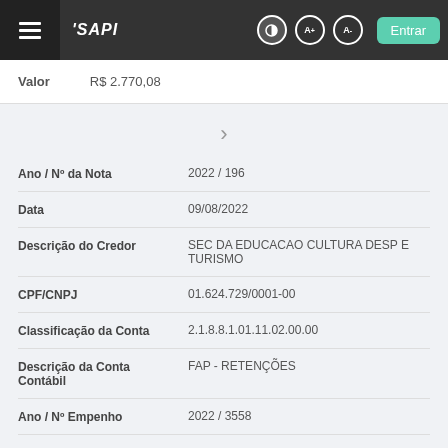SAPI — navigation bar with Entrar button
| Campo | Valor |
| --- | --- |
| Valor | R$ 2.770,08 |
| Ano / Nº da Nota | 2022 / 196 |
| Data | 09/08/2022 |
| Descrição do Credor | SEC DA EDUCACAO CULTURA DESP E TURISMO |
| CPF/CNPJ | 01.624.729/0001-00 |
| Classificação da Conta | 2.1.8.8.1.01.11.02.00.00 |
| Descrição da Conta Contábil | FAP - RETENÇÕES |
| Ano / Nº Empenho | 2022 / 3558 |
| Ano / Nº NDE |  |